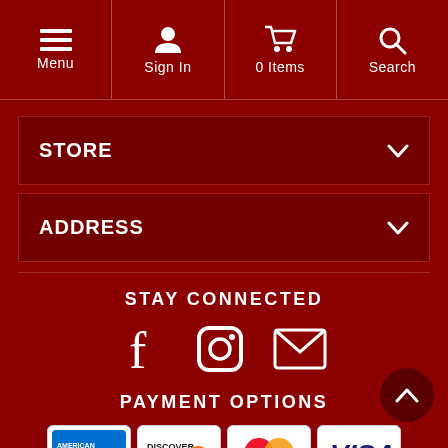Menu | Sign In | 0 Items | Search
STORE
ADDRESS
STAY CONNECTED
[Figure (logo): Social media icons: Facebook, Instagram, Email]
PAYMENT OPTIONS
[Figure (logo): Payment option logos: American Express, Discover Network, MasterCard, Visa]